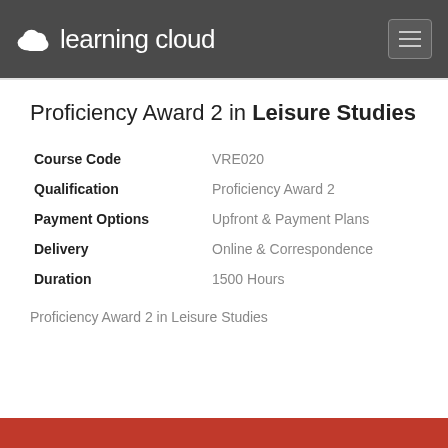learning cloud
Proficiency Award 2 in Leisure Studies
| Field | Value |
| --- | --- |
| Course Code | VRE020 |
| Qualification | Proficiency Award 2 |
| Payment Options | Upfront & Payment Plans |
| Delivery | Online & Correspondence |
| Duration | 1500 Hours |
Proficiency Award 2 in Leisure Studies